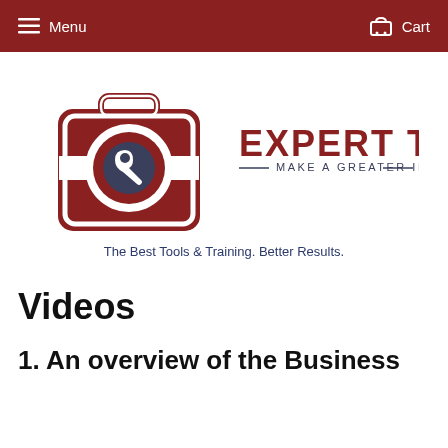Menu   Cart
[Figure (logo): Expert Toolkit logo: red toolbox with wrench icon on left, text 'EXPERT TOOLKIT — MAKE A GREATER IMPACT —' on right]
The Best Tools & Training. Better Results.
Videos
1. An overview of the Business